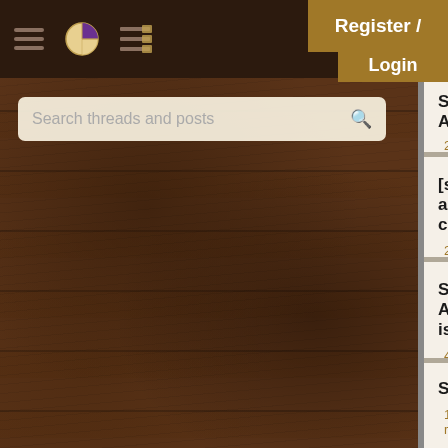[Figure (screenshot): App top navigation bar with dark brown background, hamburger menu icon, pie chart icon, and list icon]
Register /
Login
Search threads and posts
Spring Aop — 2 replies
[spring] aop config — 2 replies
Spring AOP issue — 4 replies
Spring AOP AroundAdvic… — 1 reply
where is the pointcut in… — 1 reply